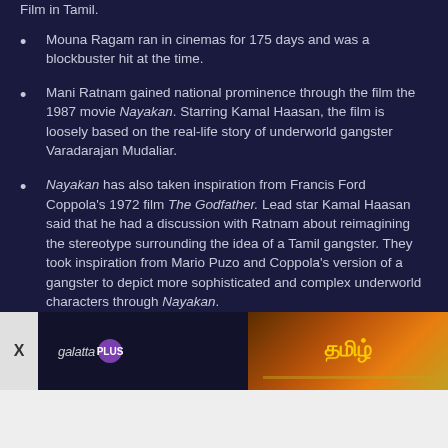Film in Tamil.
Mouna Ragam ran in cinemas for 175 days and was a blockbuster hit at the time.
Mani Ratnam gained national prominence through the film the 1987 movie Nayakan. Starring Kamal Haasan, the film is loosely based on the real-life story of underworld gangster Varadarajan Mudaliar.
Nayakan has also taken inspiration from Francis Ford Coppola's 1972 film The Godfather. Lead star Kamal Haasan said that he had a discussion with Ratnam about reimagining the stereotype surrounding the idea of a Tamil gangster. They took inspiration from Mario Puzo and Coppola's version of a gangster to depict more sophisticated and complex underworld characters through Nayakan.
[Figure (screenshot): Advertisement banner showing Galotta Plus logo on the left and a Tamil movie promotional image on the right, with an X close button on the far left.]